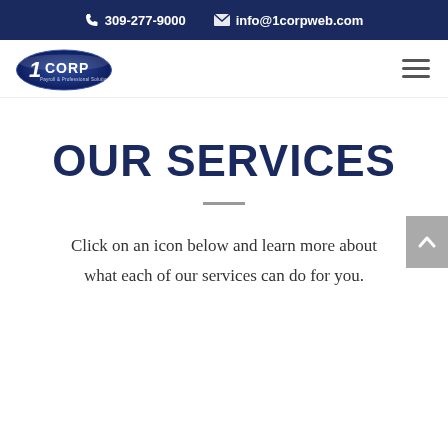309-277-9000  info@1corpweb.com
[Figure (logo): 1Corp logo — dark blue oval with '1CORP' text in white]
OUR SERVICES
Click on an icon below and learn more about what each of our services can do for you.